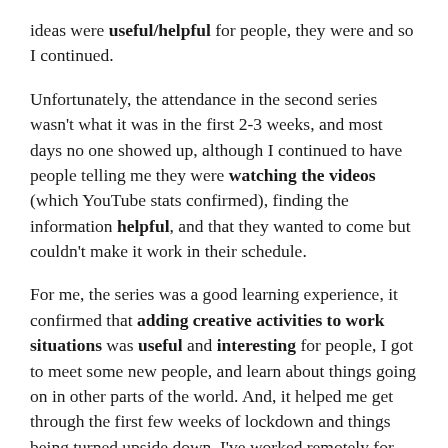ideas were useful/helpful for people, they were and so I continued.
Unfortunately, the attendance in the second series wasn't what it was in the first 2-3 weeks, and most days no one showed up, although I continued to have people telling me they were watching the videos (which YouTube stats confirmed), finding the information helpful, and that they wanted to come but couldn't make it work in their schedule.
For me, the series was a good learning experience, it confirmed that adding creative activities to work situations was useful and interesting for people, I got to meet some new people, and learn about things going on in other parts of the world. And, it helped me get through the first few weeks of lockdown and things being turned upside down. I've worked remotely for 20+